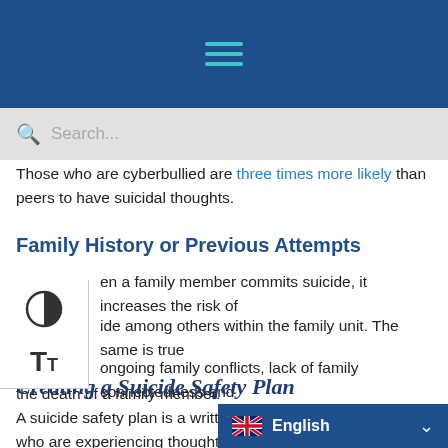Navigation bar with hamburger menu
Those who are cyberbullied are three times more likely than peers to have suicidal thoughts.
Family History or Previous Attempts
When a family member commits suicide, it increases the risk of suicide among others within the family unit. The same is true for ongoing family conflicts, lack of family connectedness and the death of a family member.
Creating a Suicide Safety Plan
A suicide safety plan is a written set of instructions for those who are experiencing thoughts of [suicide, acting as a warning...]